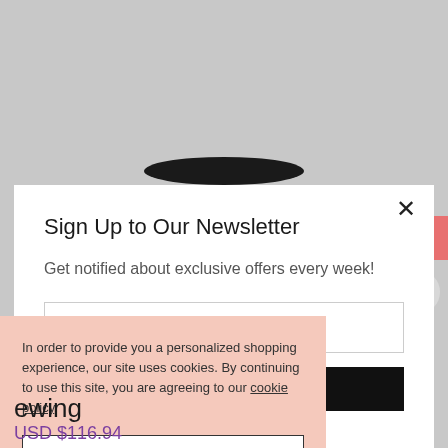[Figure (screenshot): Top portion of e-commerce product page showing a black disc/sewing machine component against gray background]
[Figure (screenshot): USD currency button (salmon/pink) and plus circle button on right side]
Sign Up to Our Newsletter
Get notified about exclusive offers every week!
Your E-Mail
In order to provide you a personalized shopping experience, our site uses cookies. By continuing to use this site, you are agreeing to our cookie policy.
ACCEPT
ffers.
ewing
USD $116.94